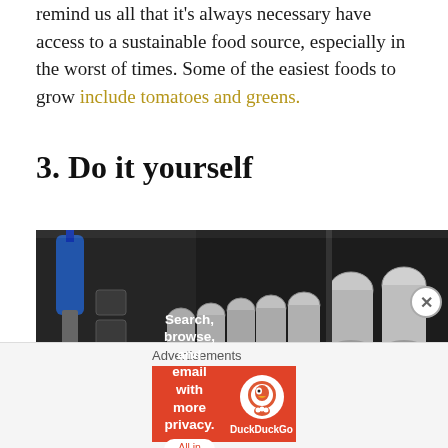remind us all that it's always necessary have access to a sustainable food source, especially in the worst of times. Some of the easiest foods to grow include tomatoes and greens.
3. Do it yourself
[Figure (photo): A close-up photograph of a mechanic's socket wrench set in a black carrying case, showing rows of chrome sockets and a screwdriver]
[Figure (other): DuckDuckGo advertisement banner: 'Search, browse, and email with more privacy. All in One Free App' with DuckDuckGo logo on orange background]